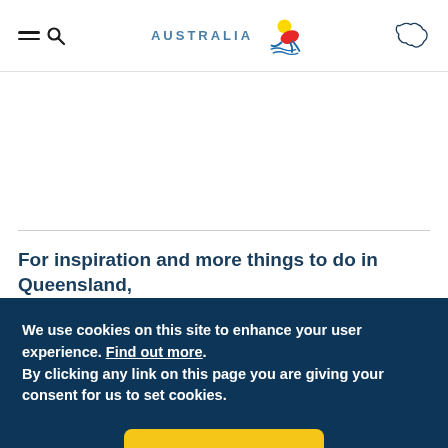Australia (Tourism Australia logo) — navigation header with menu, search, and map icon
For inspiration and more things to do in Queensland,
We use cookies on this site to enhance your user experience. Find out more. By clicking any link on this page you are giving your consent for us to set cookies.
Ok, I agree